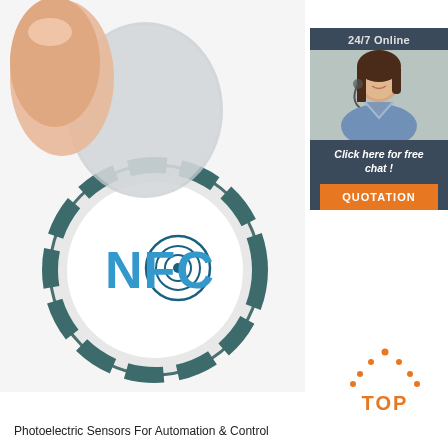[Figure (photo): Close-up photo of a hand holding a translucent circular NFC sticker/tag above a round NFC label with teal border segments and blue 'NFC' text with concentric circle logo]
[Figure (infographic): Sidebar advertisement panel with dark blue-gray background showing '24/7 Online' header, a smiling female customer service agent wearing headset, italic text 'Click here for free chat !' and an orange button labeled 'QUOTATION']
[Figure (logo): TOP logo with orange dot-outlined house/triangle shape above bold orange 'TOP' text]
Photoelectric Sensors For Automation & Control